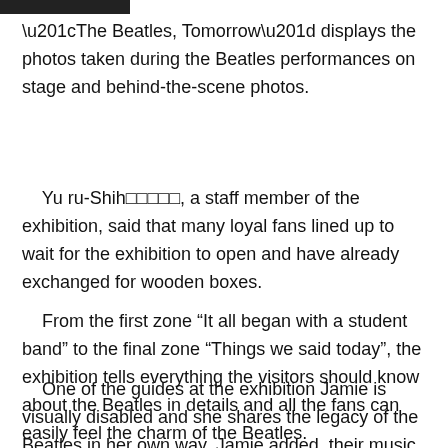“The Beatles, Tomorrow” displays the photos taken during the Beatles performances on stage and behind-the-scene photos.
Yu ru-Shih□□□□□, a staff member of the exhibition, said that many loyal fans lined up to wait for the exhibition to open and have already exchanged for wooden boxes.
From the first zone “It all began with a student band” to the final zone “Things we said today”, the exhibition tells everything the visitors should know about the Beatles in details and all the fans can easily feel the charm of the Beatles.
One of the guides at the exhibition Jamie is visually disabled and she shares the legacy of the Beatles in her own way. Jamie added, their music influences people deeply and their music has enlightened many bands nowadays. “I’m